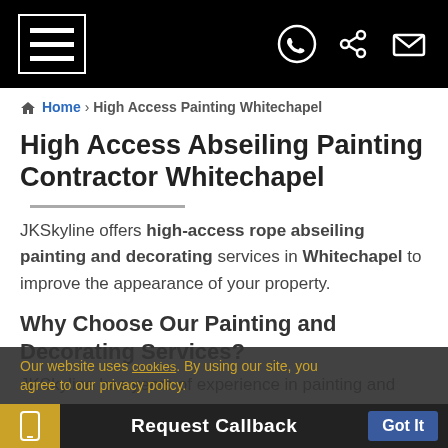[Navigation bar with hamburger menu, WhatsApp icon, share icon, email icon]
Home > High Access Painting Whitechapel
High Access Abseiling Painting Contractor Whitechapel
JKSkyline offers high-access rope abseiling painting and decorating services in Whitechapel to improve the appearance of your property.
Why Choose Our Painting and Decorating Services?
JKSkyline has years of experience in painting and decorating and is a hundred per cent customer-
Our website uses cookies. By using our site, you agree to our privacy policy.
Request Callback  Got It